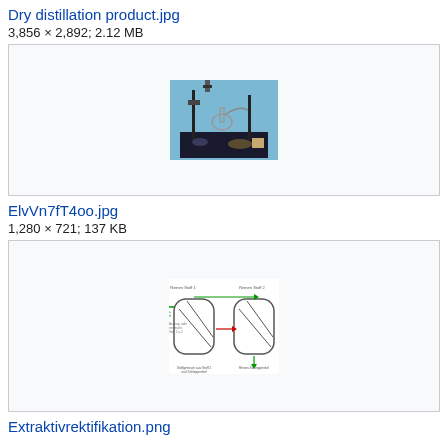Dry distillation product.jpg
3,856 × 2,892; 2.12 MB
[Figure (photo): Laboratory setup for dry distillation showing glass apparatus, stands, and equipment on a dark mat in a light-blue tiled room]
ElvVn7fT4oo.jpg
1,280 × 721; 137 KB
[Figure (schematic): Extractive rectification diagram showing two distillation column vessels with German labels: Reinen Stoff 1, Reinen Stoff 2, Schleppmittel, Azetropische oder eingeschraenkte Stoffgemisch 1 und 2, Stoffgemisch aus Stoff 2 und Schleppmittel, Reines Schleppmittel]
Extraktivrektifikation.png